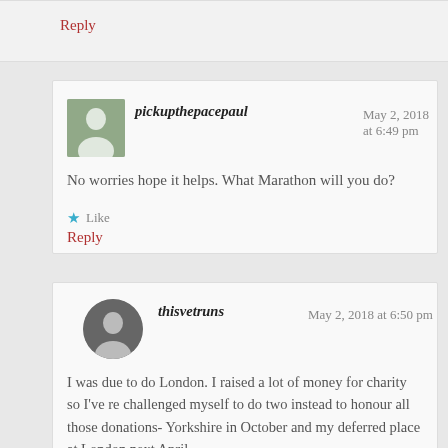Reply
pickupthepacepaul    May 2, 2018 at 6:49 pm
No worries hope it helps. What Marathon will you do?
Like
Reply
thisvetruns    May 2, 2018 at 6:50 pm
I was due to do London. I raised a lot of money for charity so I've re challenged myself to do two instead to honour all those donations- Yorkshire in October and my deferred place at London next April.